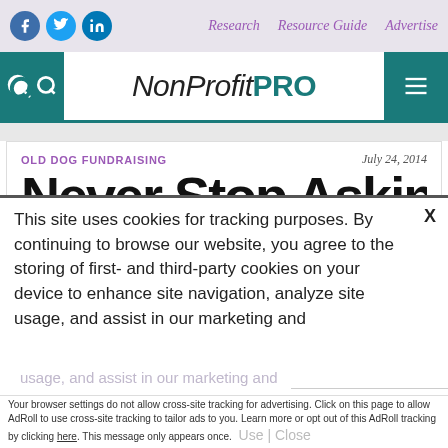Research  Resource Guide  Advertise
[Figure (logo): NonProfit PRO website logo with teal search icon on left and teal menu icon on right]
OLD DOG FUNDRAISING
July 24, 2014
Never Stop Asking
This site uses cookies for tracking purposes. By continuing to browse our website, you agree to the storing of first- and third-party cookies on your device to enhance site navigation, analyze site usage, and assist in our marketing and
Accept and Close ✕
Your browser settings do not allow cross-site tracking for advertising. Click on this page to allow AdRoll to use cross-site tracking to tailor ads to you. Learn more or opt out of this AdRoll tracking by clicking here. This message only appears once.